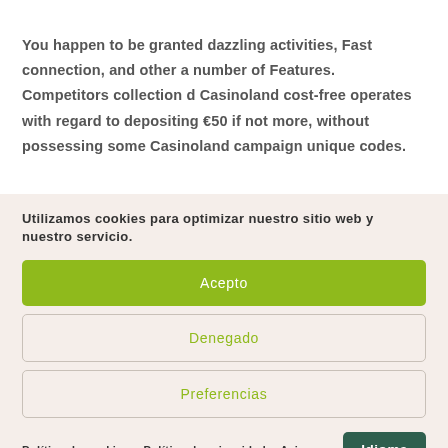You happen to be granted dazzling activities, Fast connection, and other a number of Features. Competitors collection d Casinoland cost-free operates with regard to depositing €50 if not more, without possessing some Casinoland campaign unique codes.
Utilizamos cookies para optimizar nuestro sitio web y nuestro servicio.
Acepto
Denegado
Preferencias
Política de cookies  Política de privacidad  Avis  Idioma